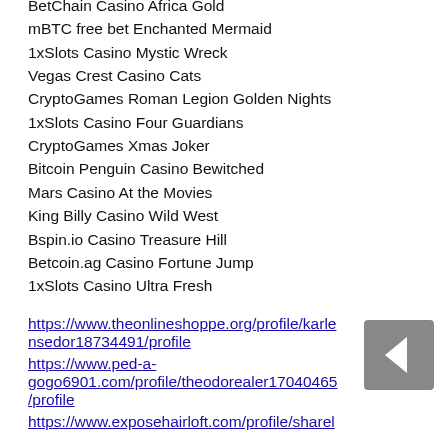King Billy Casino Double Dragons
OneHash Booming Bananas
BetChain Casino Africa Gold
mBTC free bet Enchanted Mermaid
1xSlots Casino Mystic Wreck
Vegas Crest Casino Cats
CryptoGames Roman Legion Golden Nights
1xSlots Casino Four Guardians
CryptoGames Xmas Joker
Bitcoin Penguin Casino Bewitched
Mars Casino At the Movies
King Billy Casino Wild West
Bspin.io Casino Treasure Hill
Betcoin.ag Casino Fortune Jump
1xSlots Casino Ultra Fresh
https://www.theonlineshoppe.org/profile/karlensedor18734491/profile
https://www.ped-a-gogo6901.com/profile/theodorealer17040465/profile
https://www.exposehairloft.com/profile/sharel